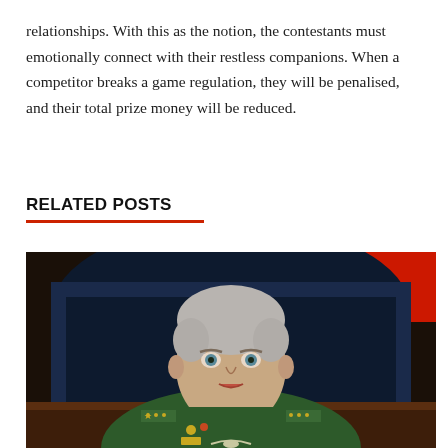relationships. With this as the notion, the contestants must emotionally connect with their restless companions. When a competitor breaks a game regulation, they will be penalised, and their total prize money will be reduced.
RELATED POSTS
[Figure (photo): A man in a green military uniform with gold stars and medals on the epaulettes, sitting in a dark blue chair, with a red and blue flag in the background.]